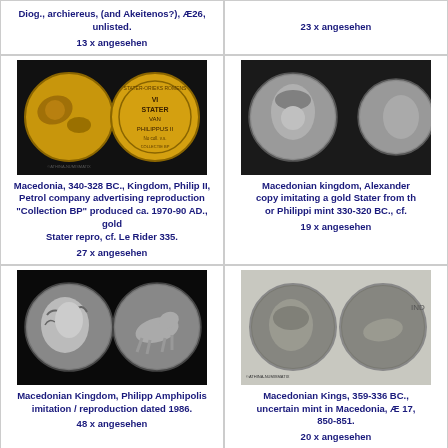Diog., archiereus, (and Akeitenos?), Æ26, unlisted.
13 x angesehen
23 x angesehen
[Figure (photo): Two gold coins showing Macedonia Philip II stater reproduction]
Macedonia, 340-328 BC., Kingdom, Philip II, Petrol company advertising reproduction "Collection BP" produced ca. 1970-90 AD., gold Stater repro, cf. Le Rider 335.
27 x angesehen
[Figure (photo): Two silver coins showing Macedonian kingdom Alexander copy imitating a gold Stater from the or Philippi mint 330-320 BC.]
Macedonian kingdom, Alexander copy imitating a gold Stater from th or Philippi mint 330-320 BC., cf.
19 x angesehen
[Figure (photo): Two silver coins showing Macedonian Kingdom Philipp Amphipolis imitation reproduction dated 1986]
Macedonian Kingdom, Philipp Amphipolis imitation / reproduction dated 1986.
48 x angesehen
[Figure (photo): Two dark coins showing Macedonian Kings 359-336 BC uncertain mint in Macedonia]
Macedonian Kings, 359-336 BC., uncertain mint in Macedonia, Æ 17, 850-851.
20 x angesehen